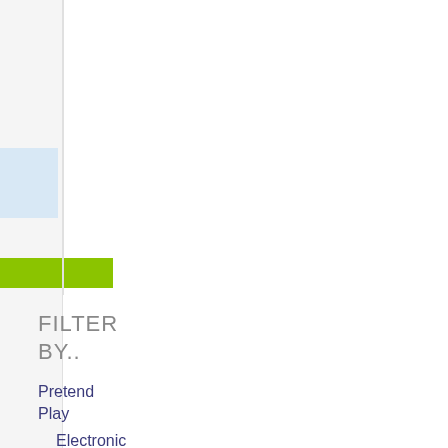[Figure (screenshot): Sidebar UI element with a light blue rectangle block and a bright green/lime rectangle block on a light gray background, with a vertical dividing line]
FILTER BY..
Pretend Play
Electronic Toys
Kitchen